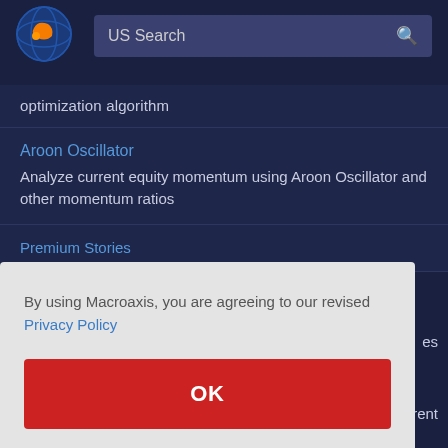[Figure (logo): Macroaxis globe logo — orange and blue circular icon]
US Search
optimization algorithm
Aroon Oscillator
Analyze current equity momentum using Aroon Oscillator and other momentum ratios
Premium Stories
By using Macroaxis, you are agreeing to our revised Privacy Policy
OK